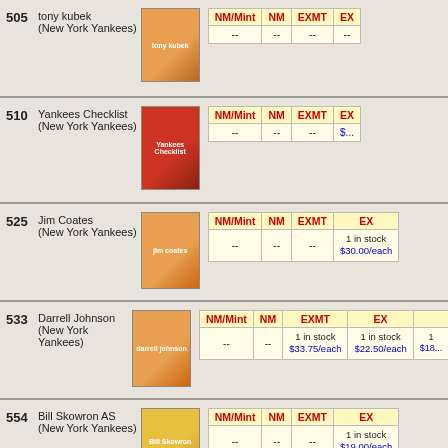505 tony kubek (New York Yankees)
| NM/Mint | NM | EXMT | EX |
| --- | --- | --- | --- |
| -- | -- | -- | -- |
510 Yankees Checklist (New York Yankees)
| NM/Mint | NM | EXMT | EX |
| --- | --- | --- | --- |
| -- | -- | -- | -- |
525 Jim Coates (New York Yankees)
| NM/Mint | NM | EXMT | EX |
| --- | --- | --- | --- |
| -- | -- | -- | 1 in stock $30.00/each |
533 Darrell Johnson (New York Yankees)
| NM/Mint | NM | EXMT | EX |
| --- | --- | --- | --- |
| -- | -- | 1 in stock $33.75/each | 1 in stock $22.50/each |
554 Bill Skowron AS (New York Yankees)
| NM/Mint | NM | EXMT | EX |
| --- | --- | --- | --- |
| -- | -- | -- | 1 in stock $19.00/each |